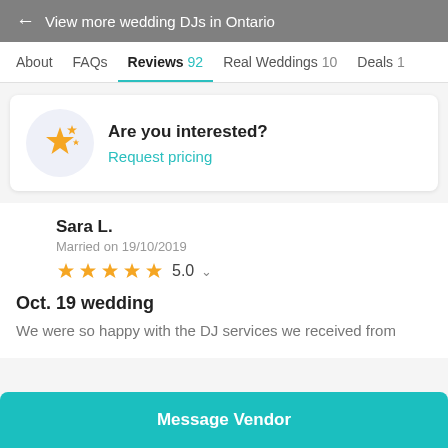← View more wedding DJs in Ontario
About   FAQs   Reviews 92   Real Weddings 10   Deals 1
Are you interested?
Request pricing
Sara L.
Married on 19/10/2019
★★★★★ 5.0
Oct. 19 wedding
We were so happy with the DJ services we received from
Message Vendor